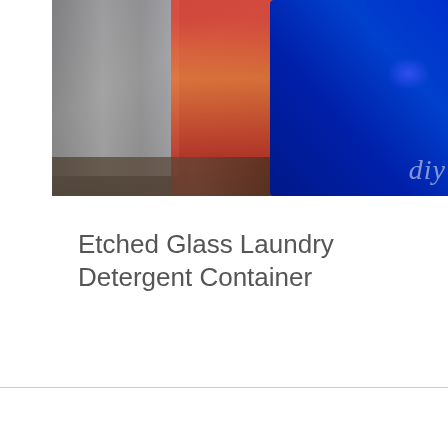[Figure (photo): Close-up photo of glass containers on a dark surface; a blue glass bottle on the right with 'diy' text visible in white cursive, and a red-orange container in the middle, with gray/silver container on the left.]
Etched Glass Laundry Detergent Container